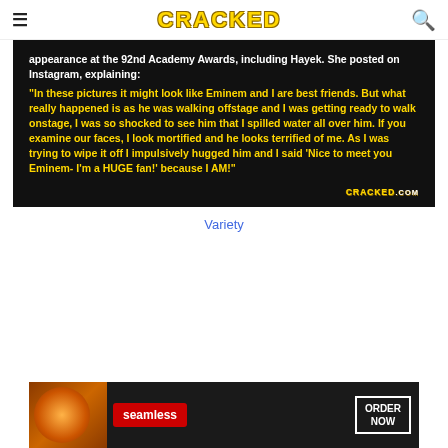CRACKED
[Figure (screenshot): Dark background image with white and gold bold text quoting Salma Hayek's Instagram post about accidentally spilling water on Eminem backstage at the 92nd Academy Awards. Text reads: 'appearance at the 92nd Academy Awards, including Hayek. She posted on Instagram, explaining: "In these pictures it might look like Eminem and I are best friends. But what really happened is as he was walking offstage and I was getting ready to walk onstage, I was so shocked to see him that I spilled water all over him. If you examine our faces, I look mortified and he looks terrified of me. As I was trying to wipe it off I impulsively hugged him and I said 'Nice to meet you Eminem- I'm a HUGE fan!' because I AM!"' CRACKED.com watermark at bottom right.]
Variety
[Figure (photo): Advertisement banner for Seamless food delivery service showing pizza and ORDER NOW button]